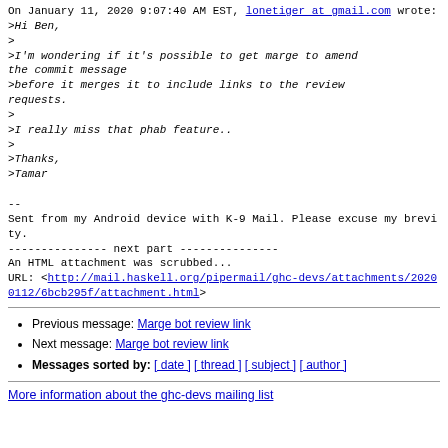On January 11, 2020 9:07:40 AM EST, lonetiger at gmail.com wrote:
>Hi Ben,
>
>I'm wondering if it's possible to get marge to amend the commit message
>before it merges it to include links to the review requests.
>
>I really miss that phab feature..
>
>Thanks,
>Tamar

--
Sent from my Android device with K-9 Mail. Please excuse my brevity.
--------------- next part ---------------
An HTML attachment was scrubbed...
URL: <http://mail.haskell.org/pipermail/ghc-devs/attachments/20200112/6bcb295f/attachment.html>
Previous message: Marge bot review link
Next message: Marge bot review link
Messages sorted by: [ date ] [ thread ] [ subject ] [ author ]
More information about the ghc-devs mailing list